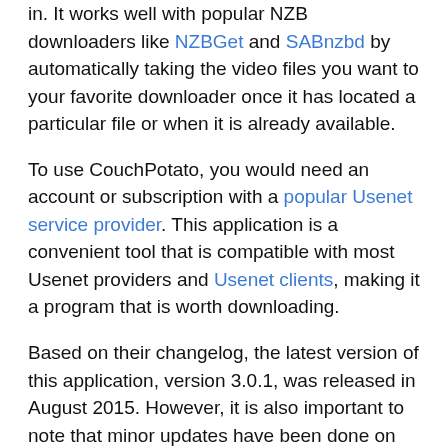in. It works well with popular NZB downloaders like NZBGet and SABnzbd by automatically taking the video files you want to your favorite downloader once it has located a particular file or when it is already available.
To use CouchPotato, you would need an account or subscription with a popular Usenet service provider. This application is a convenient tool that is compatible with most Usenet providers and Usenet clients, making it a program that is worth downloading.
Based on their changelog, the latest version of this application, version 3.0.1, was released in August 2015. However, it is also important to note that minor updates have been done on CouchPotato by its contributors throughout the years.
You may also consider comparing CouchPotato with other PVRs like Sonarr, Radarr and Sickbeard. All of which can be integrated with your favorite downloader and